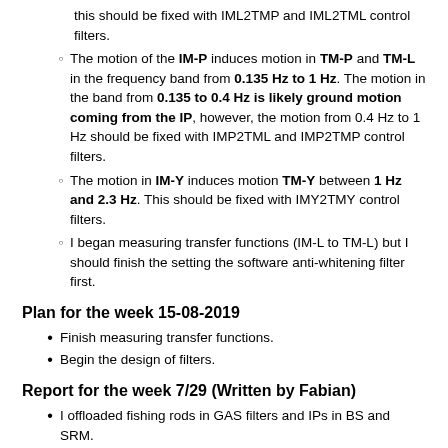this should be fixed with IML2TMP and IML2TML control filters.
The motion of the IM-P induces motion in TM-P and TM-L in the frequency band from 0.135 Hz to 1 Hz. The motion in the band from 0.135 to 0.4 Hz is likely ground motion coming from the IP, however, the motion from 0.4 Hz to 1 Hz should be fixed with IMP2TML and IMP2TMP control filters.
The motion in IM-Y induces motion TM-Y between 1 Hz and 2.3 Hz. This should be fixed with IMY2TMY control filters.
I began measuring transfer functions (IM-L to TM-L) but I should finish the setting the software anti-whitening filter first.
Plan for the week 15-08-2019
Finish measuring transfer functions.
Begin the design of filters.
Report for the week 7/29 (Written by Fabian)
I offloaded fishing rods in GAS filters and IPs in BS and SRM.